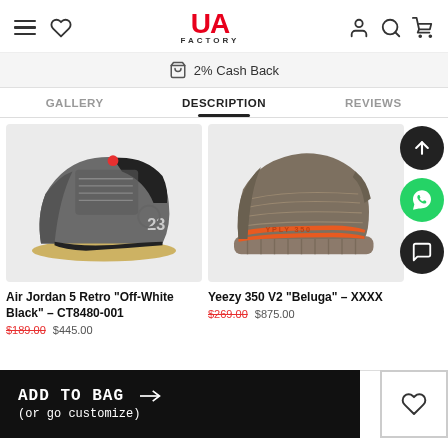UA FACTORY — navigation header with hamburger, heart, logo, user, search, cart icons
2% Cash Back
GALLERY | DESCRIPTION | REVIEWS
[Figure (photo): Air Jordan 5 Retro Off-White Black sneaker product photo on grey background]
[Figure (photo): Yeezy 350 V2 Beluga sneaker product photo on grey background with orange stripe]
Air Jordan 5 Retro "Off-White Black" - CT8480-001
Yeezy 350 V2 "Beluga" - XXXX
$189.00  $445.00
$269.00  $875.00
ADD TO BAG
(or go customize)